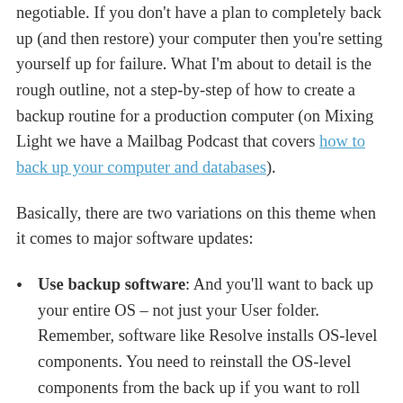negotiable. If you don't have a plan to completely back up (and then restore) your computer then you're setting yourself up for failure. What I'm about to detail is the rough outline, not a step-by-step of how to create a backup routine for a production computer (on Mixing Light we have a Mailbag Podcast that covers how to back up your computer and databases).
Basically, there are two variations on this theme when it comes to major software updates:
Use backup software: And you'll want to back up your entire OS – not just your User folder. Remember, software like Resolve installs OS-level components. You need to reinstall the OS-level components from the back up if you want to roll back to a update